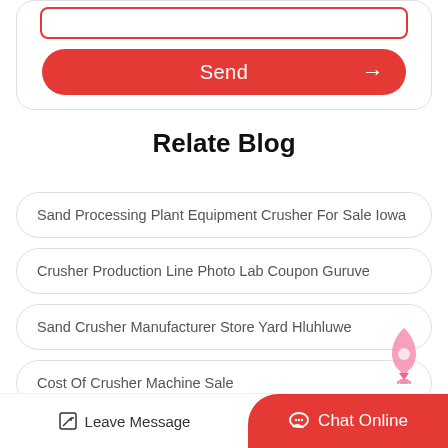[Figure (screenshot): Red Send button with arrow on a card with input field]
Relate Blog
Sand Processing Plant Equipment Crusher For Sale Iowa
Crusher Production Line Photo Lab Coupon Guruve
Sand Crusher Manufacturer Store Yard Hluhluwe
Cost Of Crusher Machine Sale
Leave Message   Chat Online